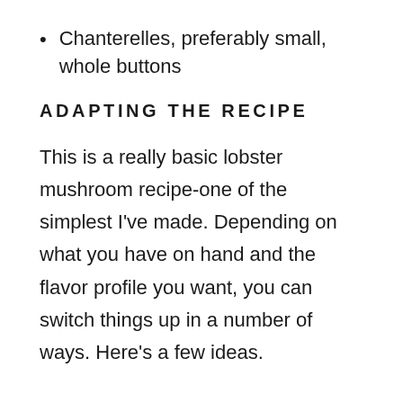Chanterelles, preferably small, whole buttons
ADAPTING THE RECIPE
This is a really basic lobster mushroom recipe-one of the simplest I've made. Depending on what you have on hand and the flavor profile you want, you can switch things up in a number of ways. Here's a few ideas.